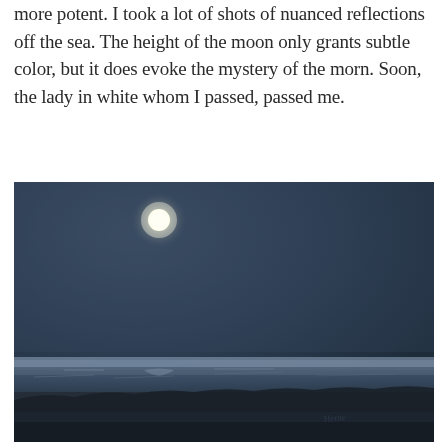more potent. I took a lot of shots of nuanced reflections off the sea. The height of the moon only grants subtle color, but it does evoke the mystery of the morn. Soon, the lady in white whom I passed, passed me.
[Figure (photo): A night photograph of a seascape with a bright full moon in the upper portion of the image against a dark blue-grey sky. The horizon shows a flat sandy beach or shoreline with low vegetation. The sea is visible as a lighter band near the horizon. The overall scene is dark and moody, dominated by deep blue-grey tones.]